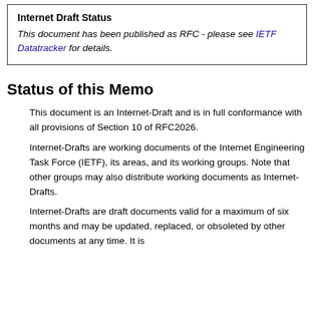Internet Draft Status
This document has been published as RFC - please see IETF Datatracker for details.
Status of this Memo
This document is an Internet-Draft and is in full conformance with all provisions of Section 10 of RFC2026.
Internet-Drafts are working documents of the Internet Engineering Task Force (IETF), its areas, and its working groups. Note that other groups may also distribute working documents as Internet-Drafts.
Internet-Drafts are draft documents valid for a maximum of six months and may be updated, replaced, or obsoleted by other documents at any time. It is